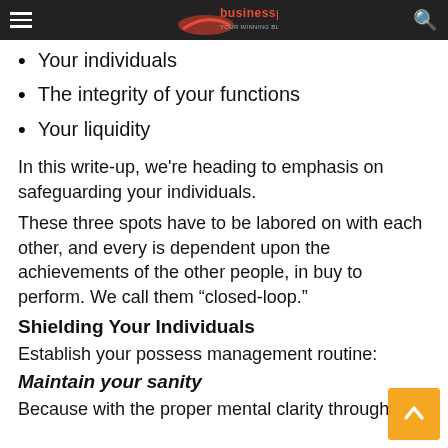businessprane [logo/navigation bar]
Your individuals
The integrity of your functions
Your liquidity
In this write-up, we’re heading to emphasis on safeguarding your individuals.
These three spots have to be labored on with each other, and every is dependent upon the achievements of the other people, in buy to perform. We call them “closed-loop.”
Shielding Your Individuals
Establish your possess management routine:
Maintain your sanity
Because with the proper mental clarity through the...